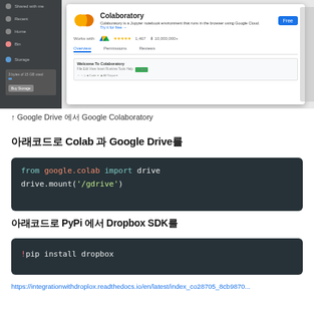[Figure (screenshot): Screenshot of Google Colaboratory Chrome extension page showing the Colaboratory logo, title, description, ratings (4467 stars, 10,000,000+ installs), Works with Google Drive, and a blue Free button. Left sidebar shows Google Drive interface. Tabs for Overview, Permissions, Reviews are visible.]
↑ Google Drive 에서 Google Colaboratory
아래코드로 Colab 과 Google Drive를
from google.colab import drive
drive.mount('/gdrive')
아래코드로 PyPi 에서 Dropbox SDK를
!pip install dropbox
https://integrationwithdroplox.readthedocs...